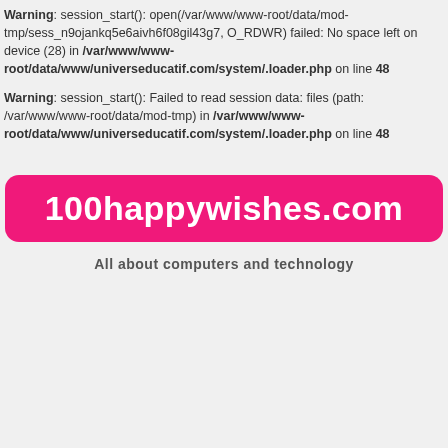Warning: session_start(): open(/var/www/www-root/data/mod-tmp/sess_n9ojankq5e6aivh6f08gil43g7, O_RDWR) failed: No space left on device (28) in /var/www/www-root/data/www/universeducatif.com/system/.loader.php on line 48
Warning: session_start(): Failed to read session data: files (path: /var/www/www-root/data/mod-tmp) in /var/www/www-root/data/www/universeducatif.com/system/.loader.php on line 48
[Figure (logo): Pink rounded rectangle logo with white text reading '100happywishes.com']
All about computers and technology